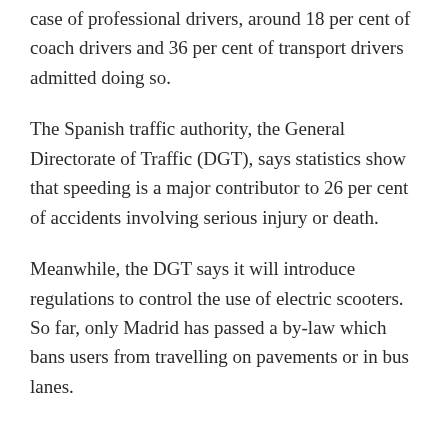case of professional drivers, around 18 per cent of coach drivers and 36 per cent of transport drivers admitted doing so.
The Spanish traffic authority, the General Directorate of Traffic (DGT), says statistics show that speeding is a major contributor to 26 per cent of accidents involving serious injury or death.
Meanwhile, the DGT says it will introduce regulations to control the use of electric scooters. So far, only Madrid has passed a by-law which bans users from travelling on pavements or in bus lanes.